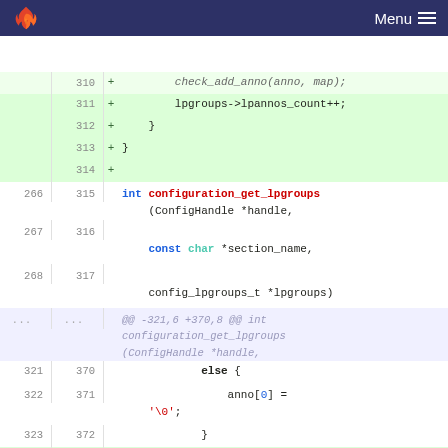GitLab Menu
[Figure (screenshot): Code diff view showing lines 310-374 of a C source file with added lines (green background) and context lines for a function configuration_get_lpgroups]
310 + check_add_anno(anno, map);
311 + lpgroups->lpannos_count++;
312 + }
313 + }
314 +
266 315 int configuration_get_lpgroups(ConfigHandle *handle,
267 316 const char *section_name,
268 317 config_lpgroups_t *lpgroups)
... ... @@ -321,6 +370,8 @@ int configuration_get_lpgroups (ConfigHandle *handle,
321 370 else {
322 371 anno[0] = '\0';
323 372 }
373 + // add to anno map
374 +